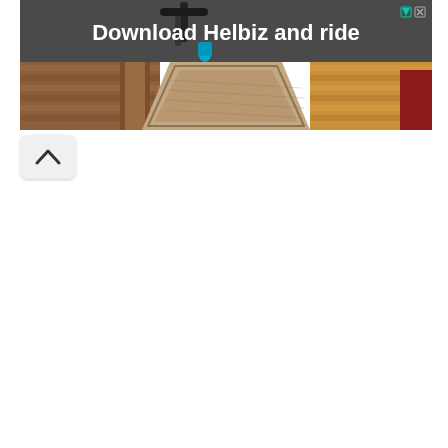[Figure (photo): Advertisement banner showing a scooter handlebar at top and a hallway with a runner rug on hardwood floor below. Text reads 'Download Helbiz and ride' with ad icons (triangle and X) in top right corner.]
[Figure (other): Chevron/caret up button (^) in a rounded rectangle, positioned at the left side below the advertisement banner.]